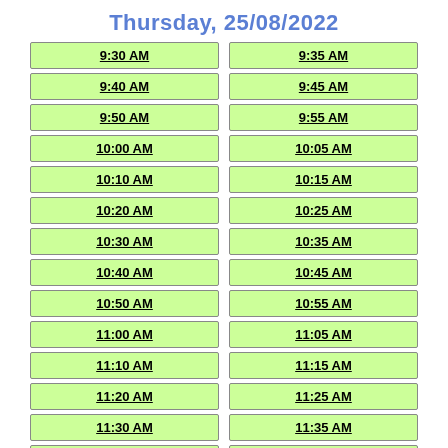Thursday, 25/08/2022
| 9:30 AM | 9:35 AM |
| 9:40 AM | 9:45 AM |
| 9:50 AM | 9:55 AM |
| 10:00 AM | 10:05 AM |
| 10:10 AM | 10:15 AM |
| 10:20 AM | 10:25 AM |
| 10:30 AM | 10:35 AM |
| 10:40 AM | 10:45 AM |
| 10:50 AM | 10:55 AM |
| 11:00 AM | 11:05 AM |
| 11:10 AM | 11:15 AM |
| 11:20 AM | 11:25 AM |
| 11:30 AM | 11:35 AM |
| 11:40 AM | 2:00 PM |